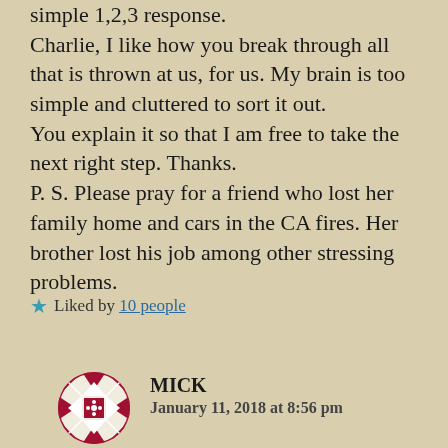simple 1,2,3 response.
Charlie, I like how you break through all that is thrown at us, for us. My brain is too simple and cluttered to sort it out.
You explain it so that I am free to take the next right step. Thanks.
P. S. Please pray for a friend who lost her family home and cars in the CA fires. Her brother lost his job among other stressing problems.
★ Liked by 10 people
MICK
January 11, 2018 at 8:56 pm